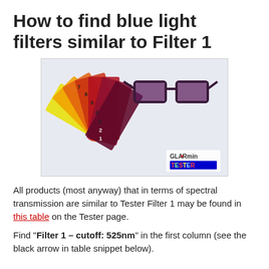How to find blue light filters similar to Filter 1
[Figure (photo): Fan of colored blue-light filter swatches (yellow, orange, red shades numbered 1-7) fanned out, with dark-framed glasses on top. GLARmin TESTER logo in bottom right corner.]
All products (most anyway) that in terms of spectral transmission are similar to Tester Filter 1 may be found in this table on the Tester page.
Find "Filter 1 – cutoff: 525nm" in the first column (see the black arrow in table snippet below).